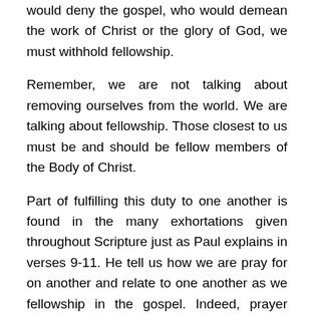would deny the gospel, who would demean the work of Christ or the glory of God, we must withhold fellowship.
Remember, we are not talking about removing ourselves from the world. We are talking about fellowship. Those closest to us must be and should be fellow members of the Body of Christ.
Part of fulfilling this duty to one another is found in the many exhortations given throughout Scripture just as Paul explains in verses 9-11. He tell us how we are pray for on another and relate to one another as we fellowship in the gospel. Indeed, prayer should be our first response to one another in fellowship – bearing one another's burdens before the Throne of God. As we rejoice with those who rejoice and weep with those who weep, we do so before God in prayer as we carry each others burdens. We seek